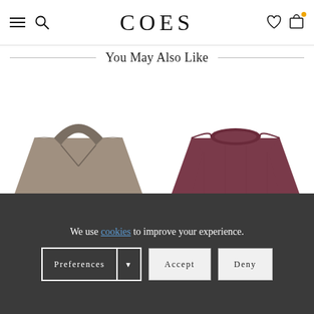COES
You May Also Like
[Figure (photo): Tan/beige V-neck sweater product image]
[Figure (photo): Maroon/burgundy crew-neck sweater product image]
We use cookies to improve your experience.
Preferences | Accept | Deny